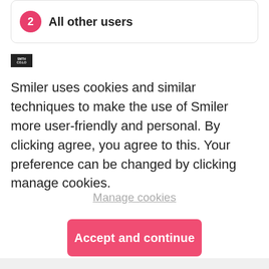2  All other users
[Figure (logo): Small rectangular black logo with white text reading 'SMILER' or similar brand mark]
Smiler uses cookies and similar techniques to make the use of Smiler more user-friendly and personal. By clicking agree, you agree to this. Your preference can be changed by clicking manage cookies.
Manage cookies
Accept and continue